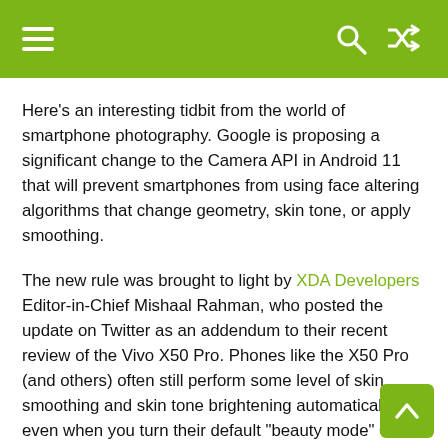≡  🔍  ⇄
Here's an interesting tidbit from the world of smartphone photography. Google is proposing a significant change to the Camera API in Android 11 that will prevent smartphones from using face altering algorithms that change geometry, skin tone, or apply smoothing.
The new rule was brought to light by XDA Developers Editor-in-Chief Mishaal Rahman, who posted the update on Twitter as an addendum to their recent review of the Vivo X50 Pro. Phones like the X50 Pro (and others) often still perform some level of skin smoothing and skin tone brightening automatically, even when you turn their default "beauty mode" OFF.